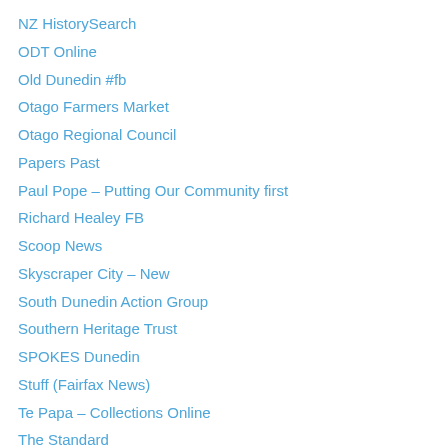NZ HistorySearch
ODT Online
Old Dunedin #fb
Otago Farmers Market
Otago Regional Council
Papers Past
Paul Pope – Putting Our Community first
Richard Healey FB
Scoop News
Skyscraper City – New
South Dunedin Action Group
Southern Heritage Trust
SPOKES Dunedin
Stuff (Fairfax News)
Te Papa – Collections Online
The Standard
University of Otago 1869-2019 ~ writing a history
Upright! Exploring Dunedin's Built Heritage #fb
Whale Oil Beef Hooked